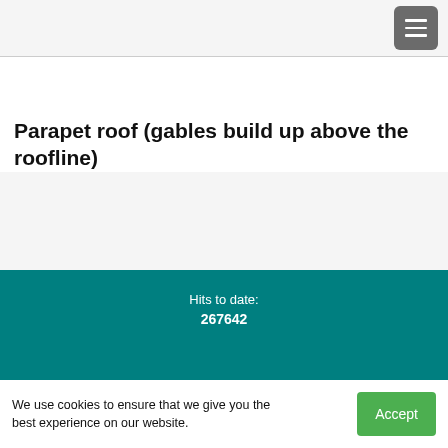≡
Parapet roof (gables build up above the roofline)
Hits to date: 267642
We use cookies to ensure that we give you the best experience on our website.